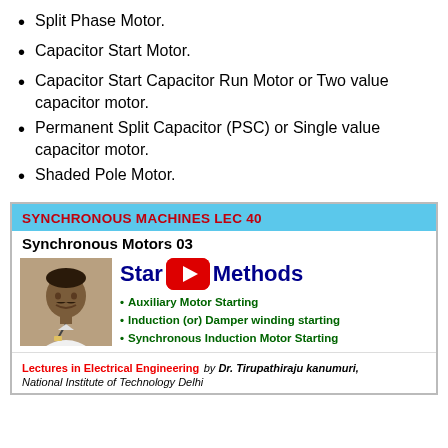Split Phase Motor.
Capacitor Start Motor.
Capacitor Start Capacitor Run Motor or Two value capacitor motor.
Permanent Split Capacitor (PSC) or Single value capacitor motor.
Shaded Pole Motor.
[Figure (screenshot): YouTube video thumbnail for 'Synchronous Machines Lec 40 - Synchronous Motors 03' showing Starting Methods with bullet points: Auxiliary Motor Starting, Induction (or) Damper winding starting, Synchronous Induction Motor Starting. Presented by Dr. Tirupathiraju kanumuri, National Institute of Technology Delhi.]